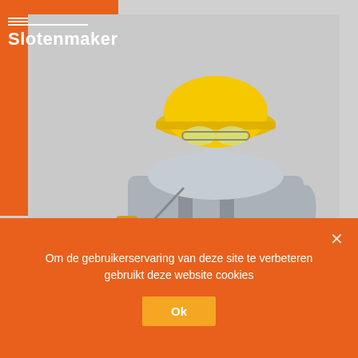[Figure (illustration): Website screenshot showing a locksmith/worker figure in gray overalls and yellow hard hat with safety goggles, holding a power drill in one hand and making an OK gesture with the other (wearing yellow work gloves). Orange brand color background top-left with Slotenmaker logo text and white lines. Light gray background for hero image area. Below the hero image is a partially visible orange content section. A cookie consent banner overlays the bottom portion of the page with orange background.]
Slotenmaker
Om de gebruikerservaring van deze site te verbeteren gebruikt deze website cookies